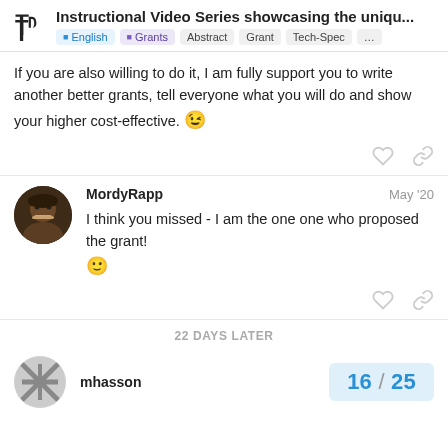Instructional Video Series showcasing the uniqu... | English | Grants | Abstract | Grant | Tech-Spec | ...
If you are also willing to do it, I am fully support you to write another better grants, tell everyone what you will do and show your higher cost-effective. 😉
MordyRapp   May '20
I think you missed - I am the one one who proposed the grant! 🙂
22 DAYS LATER
mhasson   16 / 25